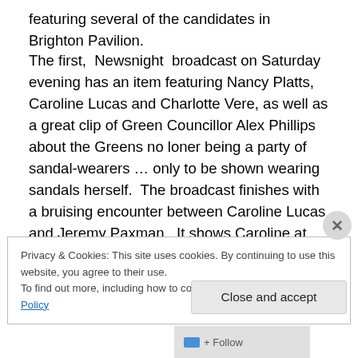featuring several of the candidates in Brighton Pavilion.
The first, Newsnight broadcast on Saturday evening has an item featuring Nancy Platts, Caroline Lucas and Charlotte Vere, as well as a great clip of Green Councillor Alex Phillips about the Greens no loner being a party of sandal-wearers … only to be shown wearing sandals herself. The broadcast finishes with a bruising encounter between Caroline Lucas and Jeremy Paxman. It shows Caroline at her charming best agains the Purile Paxman. It shows that, no matter what, Caroline ha the personal
Privacy & Cookies: This site uses cookies. By continuing to use this website, you agree to their use.
To find out more, including how to control cookies, see here: Cookie Policy
Close and accept